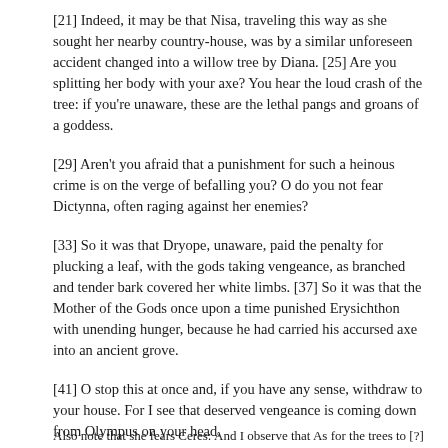[21] Indeed, it may be that Nisa, traveling this way as she sought her nearby country-house, was by a similar unforeseen accident changed into a willow tree by Diana. [25] Are you splitting her body with your axe? You hear the loud crash of the tree: if you're unaware, these are the lethal pangs and groans of a goddess.
[29] Aren't you afraid that a punishment for such a heinous crime is on the verge of befalling you? O do you not fear Dictynna, often raging against her enemies?
[33] So it was that Dryope, unaware, paid the penalty for plucking a leaf, with the gods taking vengeance, as branched and tender bark covered her white limbs. [37] So it was that the Mother of the Gods once upon a time punished Erysichthon with unending hunger, because he had carried his accursed axe into an ancient grove.
[41] O stop this at once and, if you have any sense, withdraw to your house. For I see that deserved vengeance is coming down from Olympus on your head.
Also note that she fears Ceres: And I observe that As for the trees to [?]